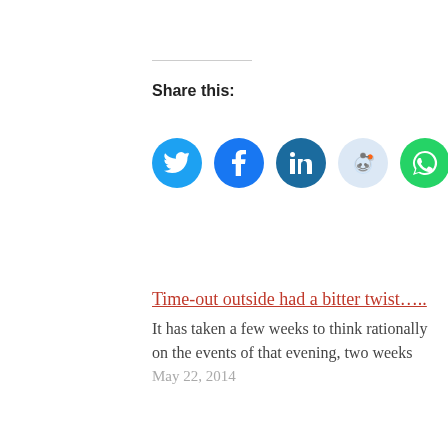Share this:
[Figure (infographic): Row of 5 social share icon circles: Twitter (blue), Facebook (blue), LinkedIn (dark blue), Reddit (light blue), WhatsApp (green)]
Time-out outside had a bitter twist…..
It has taken a few weeks to think rationally on the events of that evening, two weeks
May 22, 2014
Groundhog Day
I am having my own personal Groundhog Day at the moment. I wrote a poem about our daily life cycle 8
June 22, 2013
Cherish4ever: the creation of an app
"Dad, when I'm older do I call you Grandpa?" It was an innocent question from my youngest,